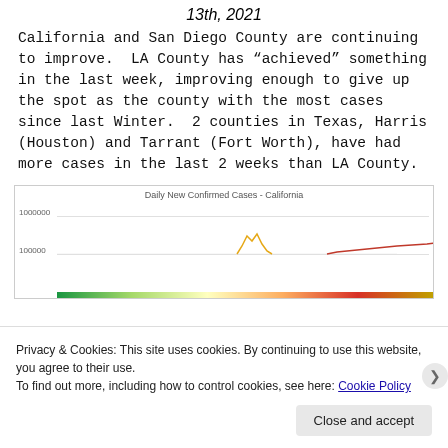13th, 2021
California and San Diego County are continuing to improve. LA County has “achieved” something in the last week, improving enough to give up the spot as the county with the most cases since last Winter.  2 counties in Texas, Harris (Houston) and Tarrant (Fort Worth), have had more cases in the last 2 weeks than LA County.
[Figure (continuous-plot): Partial line chart showing daily new confirmed cases in California on a logarithmic y-axis. Y-axis labels visible: 1000000 and 100000. Chart is cut off at the bottom by a cookie consent banner.]
Privacy & Cookies: This site uses cookies. By continuing to use this website, you agree to their use.
To find out more, including how to control cookies, see here: Cookie Policy
Close and accept